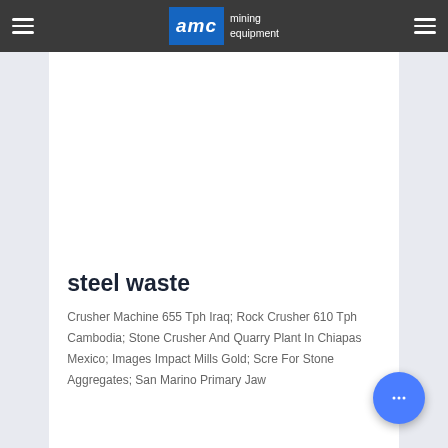AMC mining equipment
steel waste
Crusher Machine 655 Tph Iraq; Rock Crusher 610 Tph Cambodia; Stone Crusher And Quarry Plant In Chiapas Mexico; Images Impact Mills Gold; Scre For Stone Aggregates; San Marino Primary Jaw